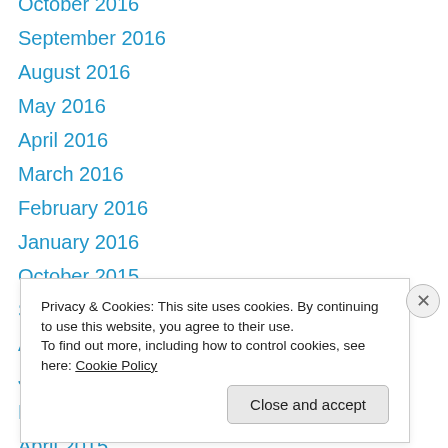October 2016
September 2016
August 2016
May 2016
April 2016
March 2016
February 2016
January 2016
October 2015
September 2015
August 2015
June 2015
May 2015
April 2015
Privacy & Cookies: This site uses cookies. By continuing to use this website, you agree to their use.
To find out more, including how to control cookies, see here: Cookie Policy